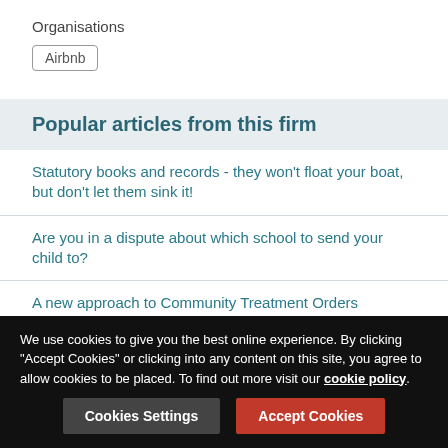Organisations
Airbnb
Popular articles from this firm
Statutory books and records - they won't float your boat, but don't let them sink it!
Are you in a dispute about which school to send your child to?
A new approach to Community Treatment Orders
Handling grievances: everything your GP practice needs to know
Liability for trespassers
We use cookies to give you the best online experience. By clicking "Accept Cookies" or clicking into any content on this site, you agree to allow cookies to be placed. To find out more visit our cookie policy.
Cookies Settings
Accept Cookies